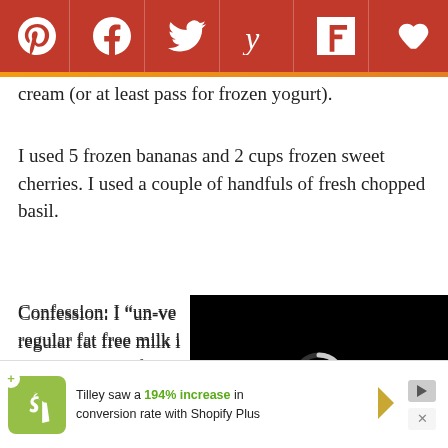[Figure (other): Social sharing bar with Pinterest, Facebook, Twitter, Yummly, Flipboard, and heart/save icons on a dark red background]
cream (or at least pass for frozen yogurt).
I used 5 frozen bananas and 2 cups frozen sweet cherries. I used a couple of handfuls of fresh chopped basil.
Confession: I “un-ve[ganized]” regular fat free milk i[nstead and] used a drizzle of po[megranate...]
This would have co[me out fine if I had] not made the mistake of first trying to use my apparently NOT so high-powered blender which was
[Figure (screenshot): Embedded video player with black background, loading spinner, progress bar, and controls showing 01:03 timestamp]
[Figure (other): Advertisement for Shopify Plus: Tilley saw a 194% increase in conversion rate with Shopify Plus, with Shopify logo and play/close controls]